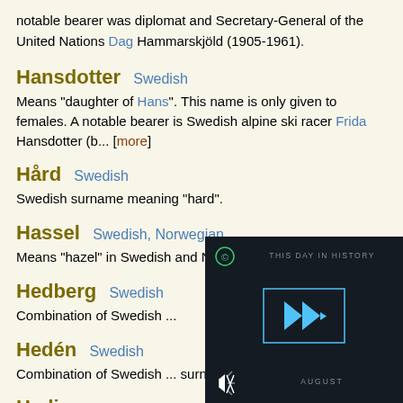notable bearer was diplomat and Secretary-General of the United Nations Dag Hammarskjöld (1905-1961).
Hansdotter   Swedish
Means "daughter of Hans". This name is only given to females. A notable bearer is Swedish alpine ski racer Frida Hansdotter (b... [more]
Hård   Swedish
Swedish surname meaning "hard".
Hassel   Swedish, Norwegian
Means "hazel" in Swedish and Norwegian.
Hedberg   Swedish
Combination of Swedish ...
Hedén   Swedish
Combination of Swedish ... surname suffix -én.
Hedin   Swedish
[Figure (screenshot): A dark video player overlay showing 'THIS DAY IN HISTORY' with a play button icon and 'AUGUST' text at the bottom, with a mute icon and copyright symbol.]